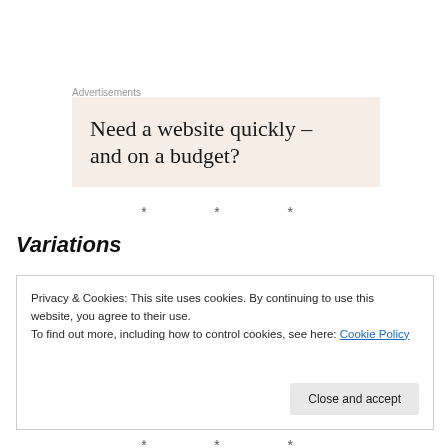Advertisements
[Figure (other): Advertisement banner with beige background reading 'Need a website quickly – and on a budget?']
* * *
Variations
Privacy & Cookies: This site uses cookies. By continuing to use this website, you agree to their use.
To find out more, including how to control cookies, see here: Cookie Policy
* * *